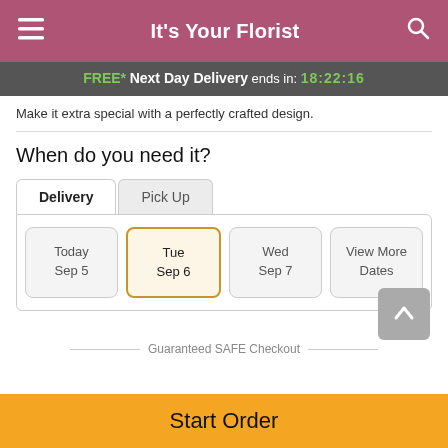It's Your Florist
FREE* Next Day Delivery ends in: 18:22:16
Make it extra special with a perfectly crafted design.
When do you need it?
Delivery | Pick Up
Today Sep 5 | Tue Sep 6 | Wed Sep 7 | View More Dates
Guaranteed SAFE Checkout
Start Order